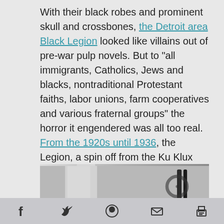With their black robes and prominent skull and crossbones, the Detroit area Black Legion looked like villains out of pre-war pulp novels. But to "all immigrants, Catholics, Jews and blacks, nontraditional Protestant faiths, labor unions, farm cooperatives and various fraternal groups" the horror it engendered was all too real. From the 1920s until 1936, the Legion, a spin off from the Ku Klux Klan, claimed between 20,000 to 30,000 members and the Associated Press blamed them for at least fifty murders.
[Figure (photo): Black and white photograph partially visible, showing a white-robed figure on the left and dark metallic objects on the right, cropped at the bottom of the text block.]
Social share bar with icons: Facebook, Twitter, WhatsApp, Email, Print